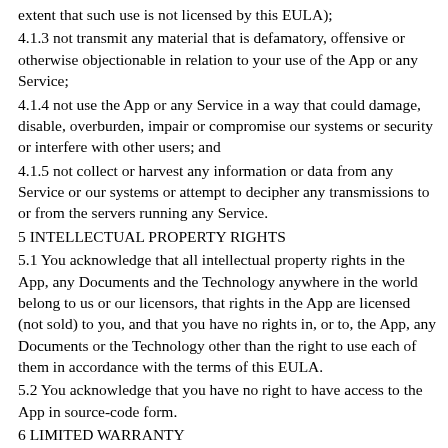extent that such use is not licensed by this EULA);
4.1.3 not transmit any material that is defamatory, offensive or otherwise objectionable in relation to your use of the App or any Service;
4.1.4 not use the App or any Service in a way that could damage, disable, overburden, impair or compromise our systems or security or interfere with other users; and
4.1.5 not collect or harvest any information or data from any Service or our systems or attempt to decipher any transmissions to or from the servers running any Service.
5 INTELLECTUAL PROPERTY RIGHTS
5.1 You acknowledge that all intellectual property rights in the App, any Documents and the Technology anywhere in the world belong to us or our licensors, that rights in the App are licensed (not sold) to you, and that you have no rights in, or to, the App, any Documents or the Technology other than the right to use each of them in accordance with the terms of this EULA.
5.2 You acknowledge that you have no right to have access to the App in source-code form.
6 LIMITED WARRANTY
6.1 We warrant that:
6.1.1 the App will, when properly used and on an operating system for which it was designed, perform substantially in accordance with the functions described in the appstore description;
for a period of 6 months from the date on which the App is